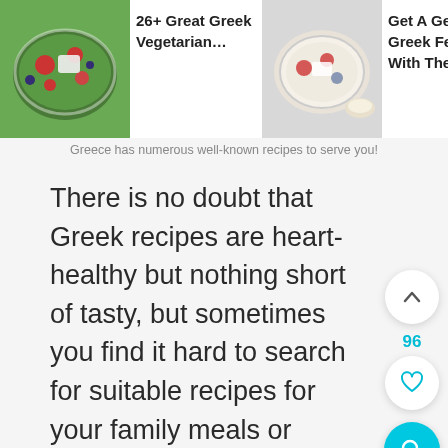[Figure (screenshot): Top navigation bar with three clickable cards showing Greek food images and titles: '26+ Great Greek Vegetarian...', 'Get A Genuine Greek Feeling With These ...', '20+ Greek Appetizers Perfect Yo...']
Greece has numerous well-known recipes to serve you!
There is no doubt that Greek recipes are heart-healthy but nothing short of tasty, but sometimes you find it hard to search for suitable recipes for your family meals or some special occasions.